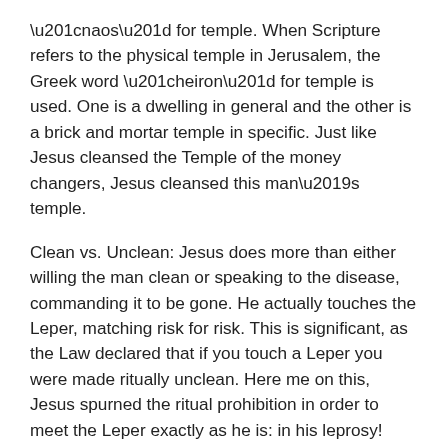“naos” for temple. When Scripture refers to the physical temple in Jerusalem, the Greek word “heiron” for temple is used. One is a dwelling in general and the other is a brick and mortar temple in specific. Just like Jesus cleansed the Temple of the money changers, Jesus cleansed this man’s temple.
Clean vs. Unclean: Jesus does more than either willing the man clean or speaking to the disease, commanding it to be gone. He actually touches the Leper, matching risk for risk. This is significant, as the Law declared that if you touch a Leper you were made ritually unclean. Here me on this, Jesus spurned the ritual prohibition in order to meet the Leper exactly as he is: in his leprosy! This is the exact type of behavior that will repeatedly get Jesus in trouble with the religious authorities, but it is the exact picture that all four Gospel writers present about Jesus, as they show us that Jesus entered into our sin sickened world. Jesus dares to go where the self righteous will not tread, least they become stained.